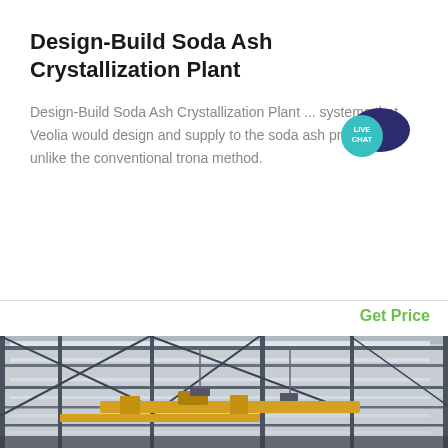Design-Build Soda Ash Crystallization Plant
Design-Build Soda Ash Crystallization Plant ... systems that Veolia would design and supply to the soda ash producer ... unlike the conventional trona method.
Get Price
[Figure (photo): Interior of a large industrial plant or warehouse with steel structural beams, overhead cranes (yellow), and fluorescent lighting along the ceiling.]